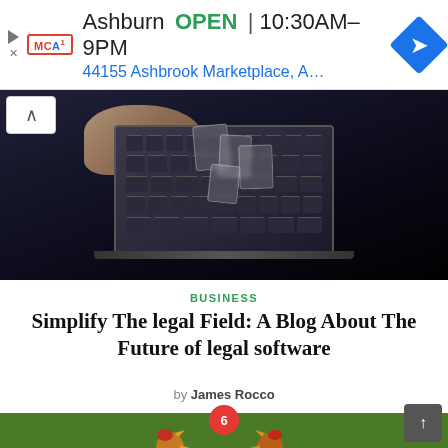[Figure (screenshot): Ad banner: MCA logo, Ashburn location, OPEN 10:30AM–9PM, 44155 Ashbrook Marketplace A..., navigation diamond icon]
[Figure (photo): Hero image showing hands interacting with a laptop, with floating translucent card UI elements rising from the keyboard, dark background]
BUSINESS
Simplify The legal Field: A Blog About The Future of legal software
by James Rocco
[Figure (photo): Bottom strip photo showing two roosters facing each other on grass, with a red circle badge showing '6' and a scroll-to-top button]